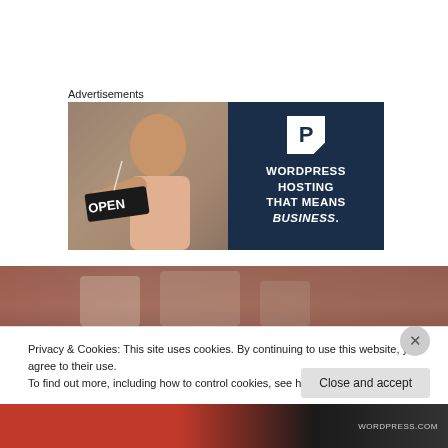Advertisements
[Figure (illustration): Advertisement banner for WordPress Hosting. Left half shows a smiling person holding an OPEN sign. Right half has a dark navy background with a white P logo and text: WORDPRESS HOSTING THAT MEANS BUSINESS.]
[Figure (photo): Partial photo visible at the bottom of the page, appears to be a street or storefront scene with red and brown tones.]
Privacy & Cookies: This site uses cookies. By continuing to use this website, you agree to their use.
To find out more, including how to control cookies, see here: Cookie Policy
Close and accept